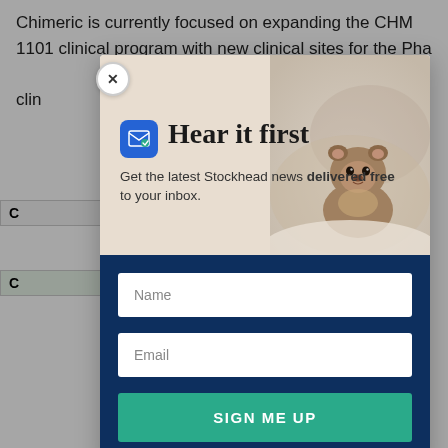Chimeric is currently focused on expanding the CHM 1101 clinical program with new clinical sites for the Phase... clin...
[Figure (screenshot): A popup/modal overlay on a web page. The modal shows a 'Hear it first' newsletter signup prompt for Stockhead news, with a groundhog photo background, email icon, subtitle text, Name and Email input fields, and a teal 'SIGN ME UP' button. There is a close (X) button at the top-left of the modal. The background shows partially obscured article text and a table.]